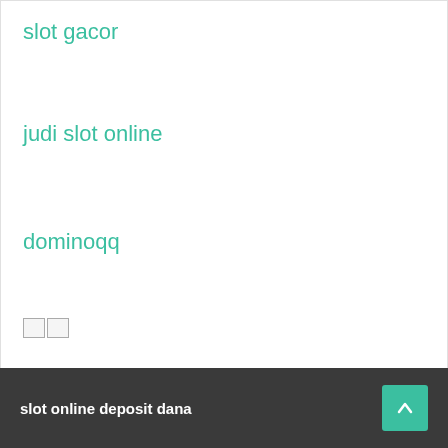slot gacor
judi slot online
dominoqq
🀱🀱
slot online deposit dana